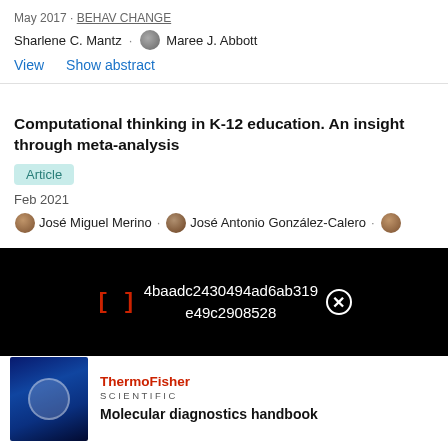May 2017 · BEHAV CHANGE
Sharlene C. Mantz · Maree J. Abbott
View   Show abstract
Computational thinking in K-12 education. An insight through meta-analysis
Article
Feb 2021
José Miguel Merino · José Antonio González-Calero · Ramón Cózar
[Figure (screenshot): Black overlay bar with red bracket icon [] and white hash text: 4baadc2430494ad6ab319e49c2908528, with a close button circle X]
[Figure (photo): Thermo Fisher Scientific advertisement showing a molecular diagnostics handbook with a blue-themed laboratory image on the left]
Molecular diagnostics handbook